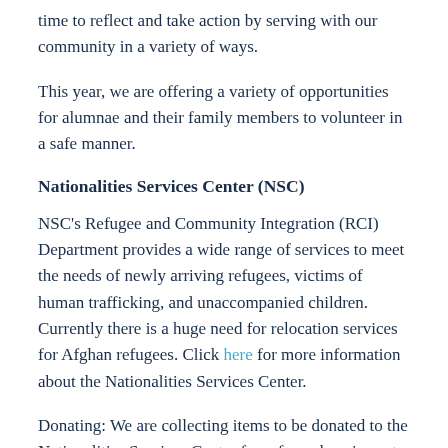time to reflect and take action by serving with our community in a variety of ways.
This year, we are offering a variety of opportunities for alumnae and their family members to volunteer in a safe manner.
Nationalities Services Center (NSC)
NSC's Refugee and Community Integration (RCI) Department provides a wide range of services to meet the needs of newly arriving refugees, victims of human trafficking, and unaccompanied children. Currently there is a huge need for relocation services for Afghan refugees. Click here for more information about the Nationalities Services Center.
Donating: We are collecting items to be donated to the Nationalities Services Center for refugee housing set up. There are a number of ways to donate. Due to the